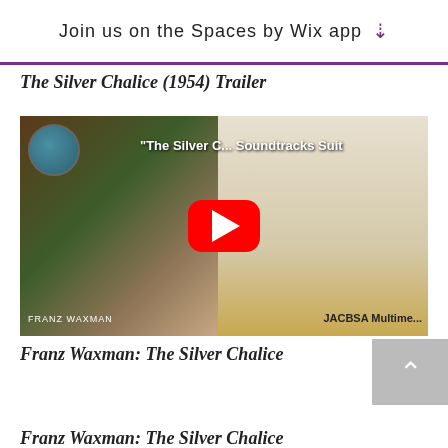Join us on the Spaces by Wix app
The Silver Chalice (1954) Trailer
[Figure (screenshot): YouTube video thumbnail for The Silver Chalice Soundtracks Suite, showing a woman in white draped clothing on the left side and a film reel with musical notes on the right side, with a red YouTube play button in the center. Text overlays include 'The Silver C... Soundtracks Suit', avatar circle top-left, 'FRANZ WAXMAN' bottom-left, 'JACBSA Multime...' bottom-right.]
Franz Waxman: The Silver Chalice
[Figure (screenshot): SoundCloud embed player showing orange Play on SoundCloud button with gray background, and Privacy policy / listen in browser controls below.]
Franz Waxman: The Silver Chalice